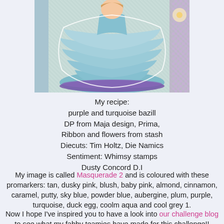[Figure (photo): A crafted card showing a girl in a tiered blue/turquoise and purple dress, with decorative paper background, ribbon and flowers.]
My recipe:
purple and turquoise bazill
DP from Maja design, Prima,
Ribbon and flowers from stash
Diecuts: Tim Holtz, Die Namics
Sentiment: Whimsy stamps
Dusty Concord D.I
My image is called Masquerade 2 and is coloured with these promarkers: tan, dusky pink, blush, baby pink, almond, cinnamon, caramel, putty, sky blue, powder blue, aubergine, plum, purple, turquoise, duck egg, coolm aqua and cool grey 1.
Now I hope I've inspired you to have a look into our challenge blog to see what my fabby teamies have made for this challenge!!